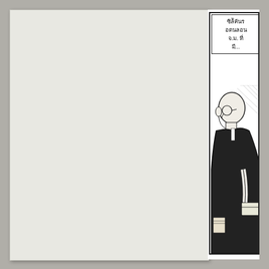[Figure (illustration): A manga/comic page showing a partial book spread. Left side is a blank light gray book cover page. Right side shows a narrow vertical manga panel with Thai script text in a speech bubble at the top, and a black-and-white illustration of a bald man wearing glasses and a dark suit, holding a briefcase, viewed from the side.]